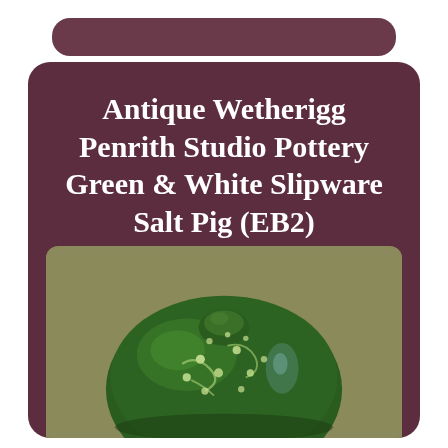Antique Wetherigg Penrith Studio Pottery Green & White Slipware Salt Pig (EB2)
[Figure (photo): Close-up photo of a green and white slipware salt pig pottery piece with glossy glaze and decorative white dot/swirl pattern on a muted olive/khaki background]